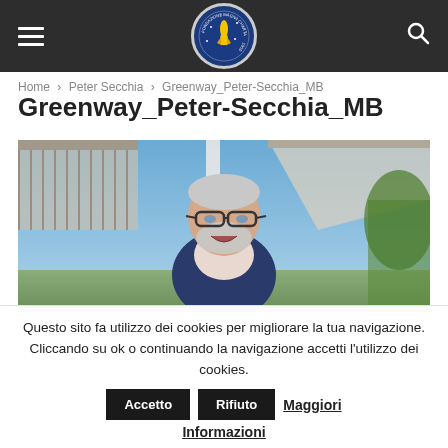Fondazione Magna Charta — Navigation bar with hamburger menu, logo, and search icon
Home › Peter Secchia › Greenway_Peter-Secchia_MB
Greenway_Peter-Secchia_MB
[Figure (photo): Outdoor photo of an elderly man with white hair, beard, and glasses, smiling and wearing a navy blazer over a light-colored shirt. Behind him is a wooden pavilion structure and blue sky.]
Questo sito fa utilizzo dei cookies per migliorare la tua navigazione. Cliccando su ok o continuando la navigazione accetti l'utilizzo dei cookies.  Accetto  Rifiuto  Maggiori Informazioni